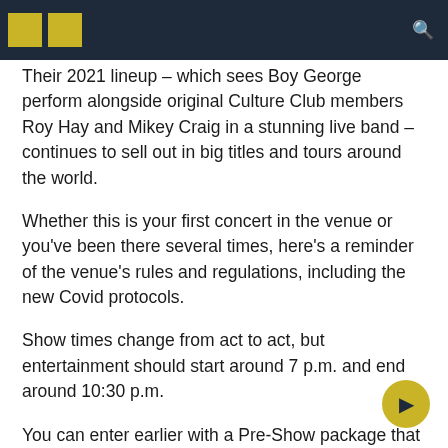Their 2021 lineup – which sees Boy George perform alongside original Culture Club members Roy Hay and Mikey Craig in a stunning live band – continues to sell out in big titles and tours around the world.
Whether this is your first concert in the venue or you've been there several times, here's a reminder of the venue's rules and regulations, including the new Covid protocols.
Show times change from act to act, but entertainment should start around 7 p.m. and end around 10:30 p.m.
You can enter earlier with a Pre-Show package that allows access from 5 p.m. on a 9-inch pizza and a drink of your choice.
What are the new Covid protocols?